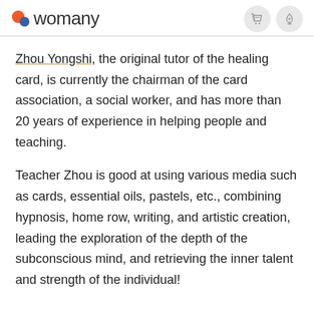womany
Zhou Yongshi, the original tutor of the healing card, is currently the chairman of the card association, a social worker, and has more than 20 years of experience in helping people and teaching.
Teacher Zhou is good at using various media such as cards, essential oils, pastels, etc., combining hypnosis, home row, writing, and artistic creation, leading the exploration of the depth of the subconscious mind, and retrieving the inner talent and strength of the individual!